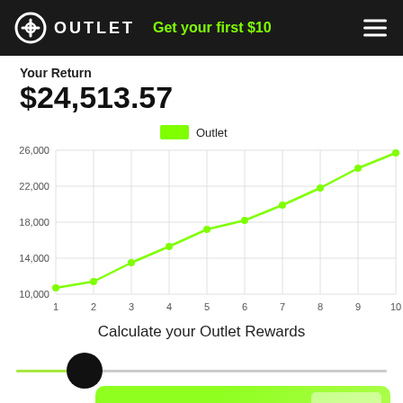OUTLET — Get your first $10
Your Return
$24,513.57
[Figure (line-chart): Outlet]
Calculate your Outlet Rewards